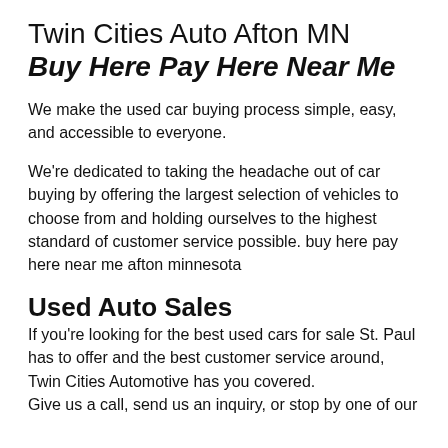Twin Cities Auto Afton MN
Buy Here Pay Here Near Me
We make the used car buying process simple, easy, and accessible to everyone.
We're dedicated to taking the headache out of car buying by offering the largest selection of vehicles to choose from and holding ourselves to the highest standard of customer service possible. buy here pay here near me afton minnesota
Used Auto Sales
If you're looking for the best used cars for sale St. Paul has to offer and the best customer service around, Twin Cities Automotive has you covered.
Give us a call, send us an inquiry, or stop by one of our